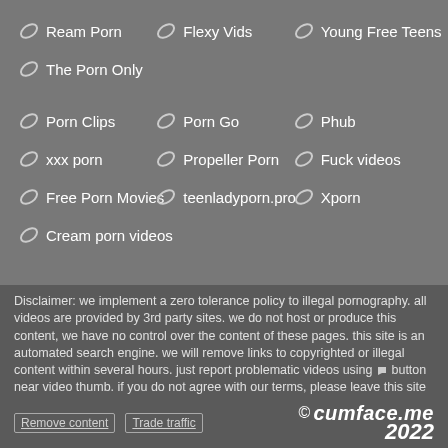Ream Porn
Flexy Vids
Young Free Teens
The Porn Only
Porn Clips
Porn Go
Phub
xxx porn
Propeller Porn
Fuck videos
Free Porn Movies
teenladyporn.pro
Xporn
Cream porn videos
Disclaimer: we implement a zero tolerance policy to illegal pornography. all videos are provided by 3rd party sites. we do not host or produce this content, we have no control over the content of these pages. this site is an automated search engine. we will remove links to copyrighted or illegal content within several hours. just report problematic videos using ⚑ button near video thumb. if you do not agree with our terms, please leave this site
Remove content   Trade traffic   © cumface.me 2022